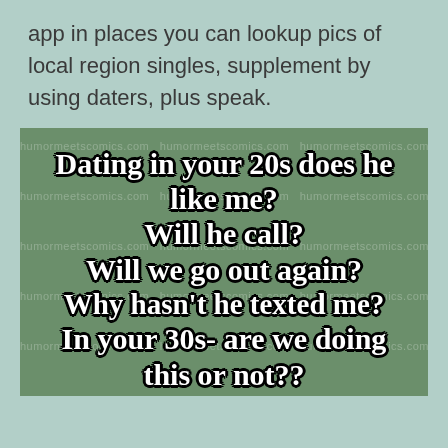app in places you can lookup pics of local region singles, supplement by using daters, plus speak.
[Figure (illustration): Green background meme image with bold white outlined text reading: Dating in your 20s does he like me? Will he call? Will we go out again? Why hasn't he texted me? In your 30s- are we doing this or not?? Let me know cause I got — with watermark text 'humormeetscomics.com' repeated across the image.]